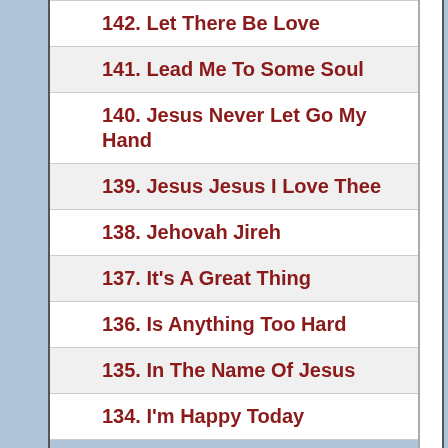142. Let There Be Love
141. Lead Me To Some Soul
140. Jesus Never Let Go My Hand
139. Jesus Jesus I Love Thee
138. Jehovah Jireh
137. It's A Great Thing
136. Is Anything Too Hard
135. In The Name Of Jesus
134. I'm Happy Today